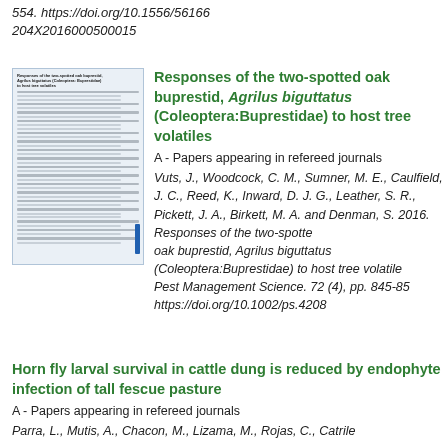554. https://doi.org/10.1556/56166
204X2016000500015
[Figure (illustration): Thumbnail of a scientific paper page]
Responses of the two-spotted oak buprestid, Agrilus biguttatus (Coleoptera:Buprestidae) to host tree volatiles
A - Papers appearing in refereed journals
Vuts, J., Woodcock, C. M., Sumner, M. E., Caulfield, J. C., Reed, K., Inward, D. J. G., Leather, S. R., Pickett, J. A., Birkett, M. A. and Denman, S. 2016. Responses of the two-spotted oak buprestid, Agrilus biguttatus (Coleoptera:Buprestidae) to host tree volatiles. Pest Management Science. 72 (4), pp. 845-855. https://doi.org/10.1002/ps.4208
Horn fly larval survival in cattle dung is reduced by endophyte infection of tall fescue pasture
A - Papers appearing in refereed journals
Parra, L., Mutis, A., Chacon, M., Lizama, M., Rojas, C., Catriled...